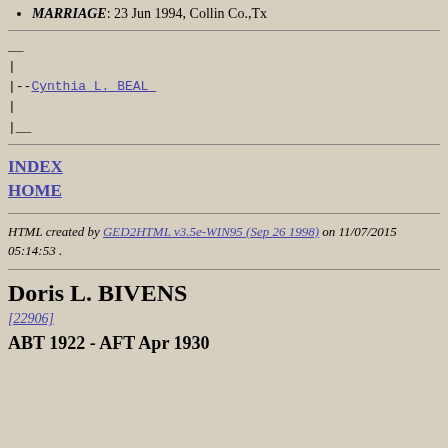MARRIAGE: 23 Jun 1994, Collin Co.,Tx
__
|
|--Cynthia L. BEAL
|
|__
INDEX
HOME
HTML created by GED2HTML v3.5e-WIN95 (Sep 26 1998) on 11/07/2015 05:14:53 .
Doris L. BIVENS
[22906]
ABT 1922 - AFT Apr 1930